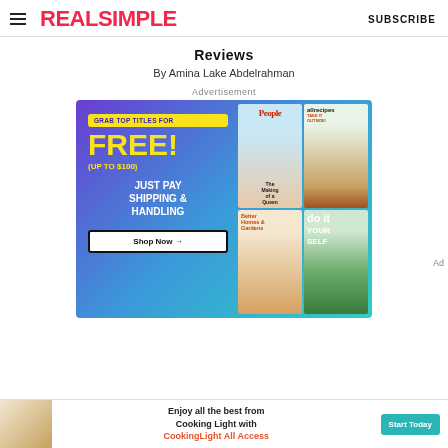REAL SIMPLE | SUBSCRIBE
Reviews
By Amina Lake Abdelrahman
Advertisement
[Figure (infographic): Magazine subscription advertisement with purple-to-teal gradient background. Left side: yellow badge 'GRAB TOP TITLES FOR', large yellow text 'FREE!' with '(UP TO $100)', white bold text 'JUST PAY SHIPPING & HANDLING', and a 'Shop Now →' button. Right side: four magazine covers in a 2x2 grid: People, allrecipes, Better Homes & Gardens, and do it yourself magazines.]
[Figure (infographic): Bottom advertisement strip for Cooking Light All Access: food photo on left, text 'Enjoy all the best from Cooking Light with CookingLight All Access', and a teal 'Start Today' button on right.]